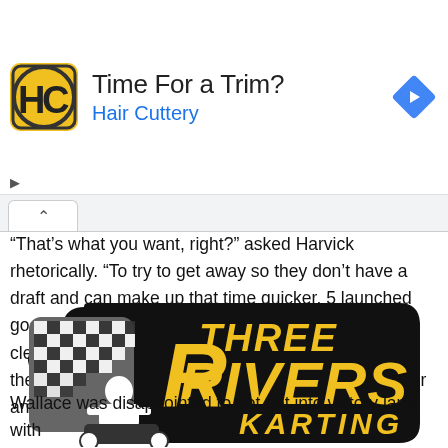[Figure (screenshot): Advertisement banner for Hair Cuttery with yellow/black HC logo, text 'Time For a Trim?' and 'Hair Cuttery' in blue, and a blue navigation diamond icon on the right]
“That’s what you want, right?” asked Harvick rhetorically. “To try to get away so they don’t have a draft and can make up that time quicker. 5 launched good. 5 gave us a good push, and the key was just clearing the 23 off of two and being able to go down the back straight-away by myself and not door to door and in a firestorm.”
[Figure (logo): Three Rivers Karting logo - black rounded shape with checkered flag and go-kart driver, yellow text 'THREE RIVERS' and 'KARTING' in italics]
Wallace was disappointed to not get into victory lane with